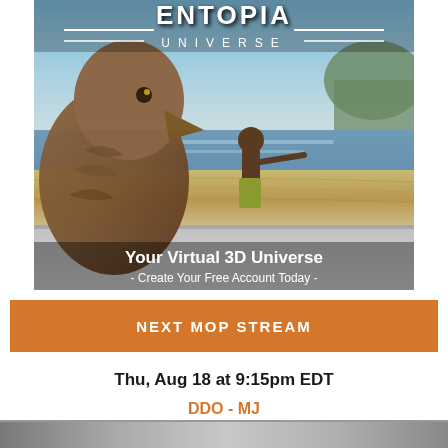[Figure (illustration): Entopia Universe advertisement banner showing a creature on the left, a person pointing in the center, water and landscape in background, with logo 'ENTOPIA UNIVERSE' at top and tagline 'Your Virtual 3D Universe - Create Your Free Account Today -' at the bottom of the image.]
NEXT MOP STREAM
Thu, Aug 18 at 9:15pm EDT
DDO - MJ
[Figure (photo): Partial bottom strip showing another image, partially cropped.]